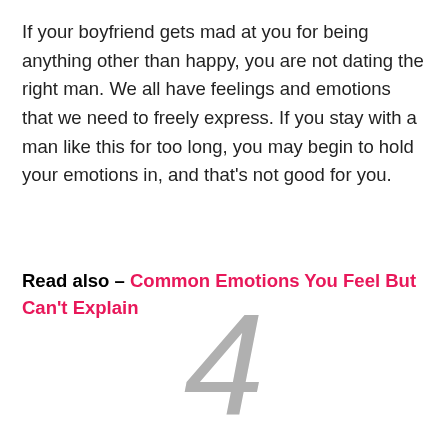If your boyfriend gets mad at you for being anything other than happy, you are not dating the right man. We all have feelings and emotions that we need to freely express. If you stay with a man like this for too long, you may begin to hold your emotions in, and that's not good for you.
Read also – Common Emotions You Feel But Can't Explain
[Figure (other): Large decorative numeral '4' in light gray italic font]